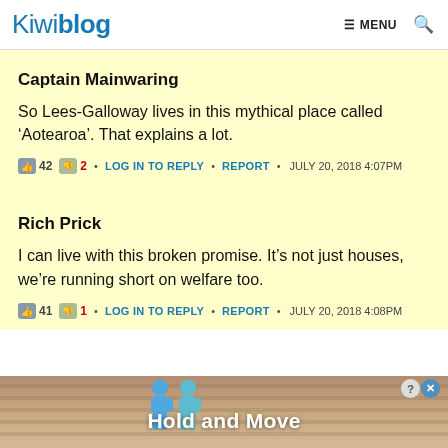Kiwiblog  ≡ MENU  🔍
Captain Mainwaring
So Lees-Galloway lives in this mythical place called ‘Aotearoa’. That explains a lot.
42  2 • LOG IN TO REPLY • REPORT • JULY 20, 2018 4:07PM
Rich Prick
I can live with this broken promise. It’s not just houses, we’re running short on welfare too.
41  1 • LOG IN TO REPLY • REPORT • JULY 20, 2018 4:08PM
[Figure (screenshot): Advertisement banner at bottom: Hold and Move app ad with blue cartoon figures, close button in top right]